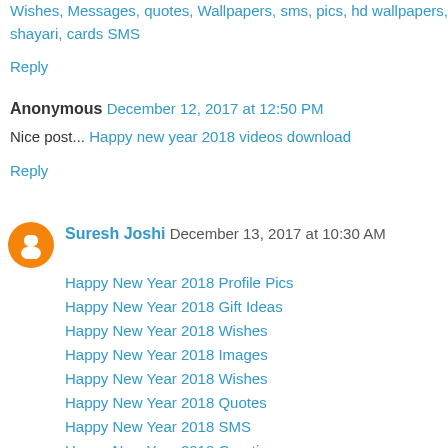Wishes, Messages, quotes, Wallpapers, sms, pics, hd wallpapers, shayari, cards SMS
Reply
Anonymous  December 12, 2017 at 12:50 PM
Nice post... Happy new year 2018 videos download
Reply
Suresh Joshi  December 13, 2017 at 10:30 AM
Happy New Year 2018 Profile Pics
Happy New Year 2018 Gift Ideas
Happy New Year 2018 Wishes
Happy New Year 2018 Images
Happy New Year 2018 Wishes
Happy New Year 2018 Quotes
Happy New Year 2018 SMS
Happy New Year 2018 Greetings
Happy New Year 2018 Message